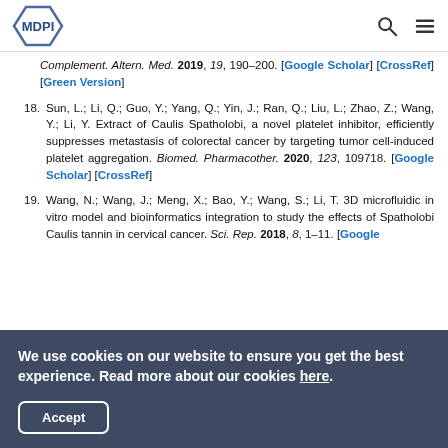MDPI
Complement. Altern. Med. 2019, 19, 190–200. [Google Scholar] [CrossRef][Green Version]
18. Sun, L.; Li, Q.; Guo, Y.; Yang, Q.; Yin, J.; Ran, Q.; Liu, L.; Zhao, Z.; Wang, Y.; Li, Y. Extract of Caulis Spatholobi, a novel platelet inhibitor, efficiently suppresses metastasis of colorectal cancer by targeting tumor cell-induced platelet aggregation. Biomed. Pharmacother. 2020, 123, 109718. [Google Scholar] [CrossRef]
19. Wang, N.; Wang, J.; Meng, X.; Bao, Y.; Wang, S.; Li, T. 3D microfluidic in vitro model and bioinformatics integration to study the effects of Spatholobi Caulis tannin in cervical cancer. Sci. Rep. 2018, 8, 1–11. [Google
We use cookies on our website to ensure you get the best experience. Read more about our cookies here.
Accept